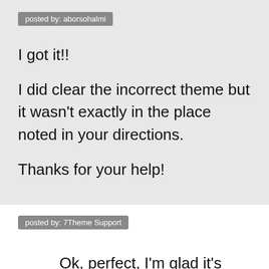posted by: aborsohalmi
I got it!!

I did clear the incorrect theme but it wasn't exactly in the place noted in your directions.

Thanks for your help!
posted by: 7Theme Support
Ok, perfect, I'm glad it's working now.